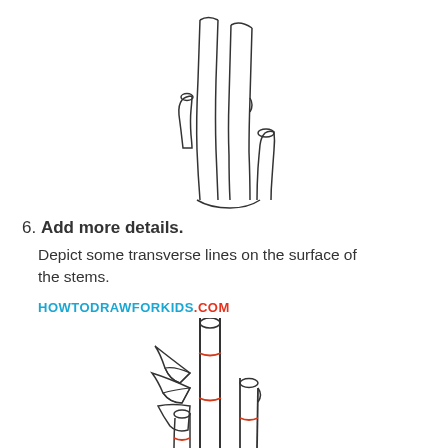[Figure (illustration): Line drawing of three bamboo stems with cut tops, no leaves yet, arranged in a U-shape cluster, black outlines on white background.]
6. Add more details.
Depict some transverse lines on the surface of the stems.
HOWTODRAWFORKIDS.COM
[Figure (illustration): Line drawing of bamboo stems with leaves on the left side and red transverse lines (node rings) drawn on the stems to indicate the new detail being added in step 6.]